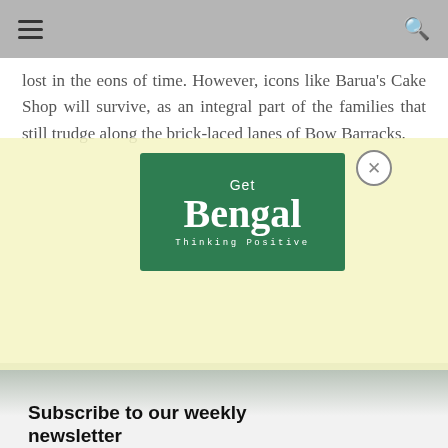≡  🔍
lost in the eons of time. However, icons like Barua's Cake Shop will survive, as an integral part of the families that still trudge along the brick-laced lanes of Bow Barracks.
[Figure (logo): Get Bengal - Thinking Positive logo on green background with close button]
Subscribe to our weekly newsletter
@ Your email...
Subscribe